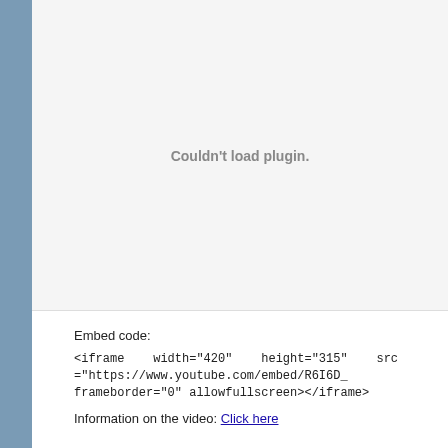[Figure (other): Video embed placeholder showing 'Couldn't load plugin.' message in gray text on a light gray background]
Embed code:
<iframe    width="420"    height="315"    src="https://www.youtube.com/embed/R6I6D_c frameborder="0" allowfullscreen></iframe>
Information on the video: Click here